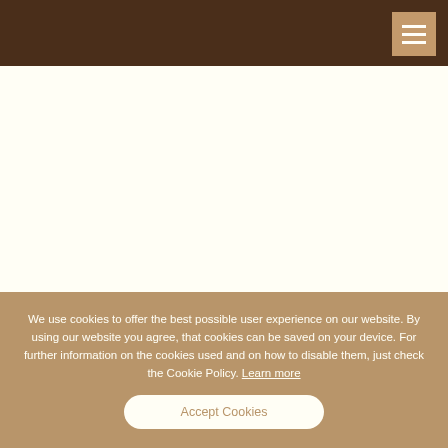[Figure (screenshot): Navigation header bar in dark brown color with a hamburger menu button (three white horizontal lines) in a tan/gold square on the top right]
We use cookies to offer the best possible user experience on our website. By using our website you agree, that cookies can be saved on your device. For further information on the cookies used and on how to disable them, just check the Cookie Policy. Learn more
Accept Cookies